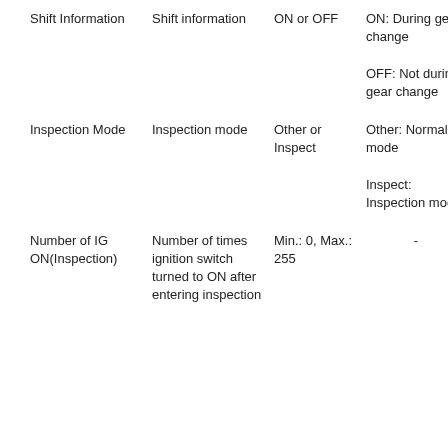| Shift Information | Shift information | ON or OFF | ON: During gear change

OFF: Not during gear change | - |
| Inspection Mode | Inspection mode | Other or Inspect | Other: Normal mode

Inspect: Inspection mode | - |
| Number of IG ON(Inspection) | Number of times ignition switch turned to ON after entering inspection... | Min.: 0, Max.: 255 | - | - |